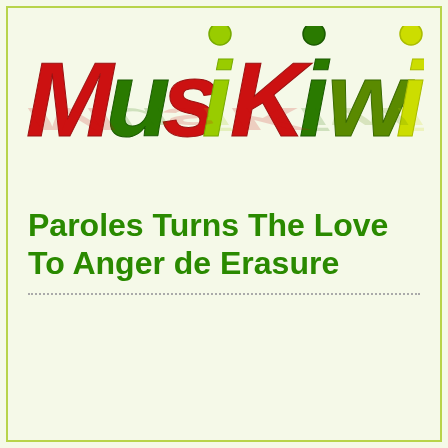[Figure (logo): MusiKiwi logo with colorful stylized letters - red M, green u, red s, yellow-green i with dot, red K, green i, olive w, yellow-green i - with reflection effect below]
Paroles Turns The Love To Anger de Erasure